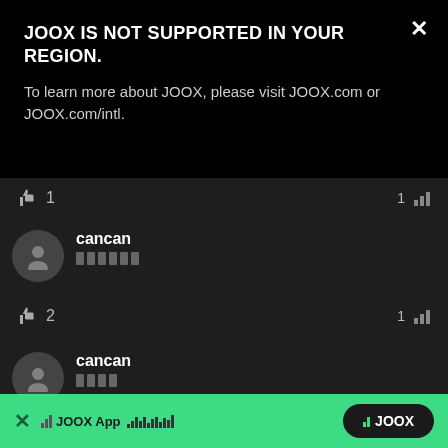JOOX IS NOT SUPPORTED IN YOUR REGION.
To learn more about JOOX, please visit JOOX.com or JOOX.com/intl.
[Figure (screenshot): App screenshot showing JOOX music app comments feed with like counts, user avatars, usernames 'cancan', and comment text bars. Bottom green banner with JOOX app install prompt.]